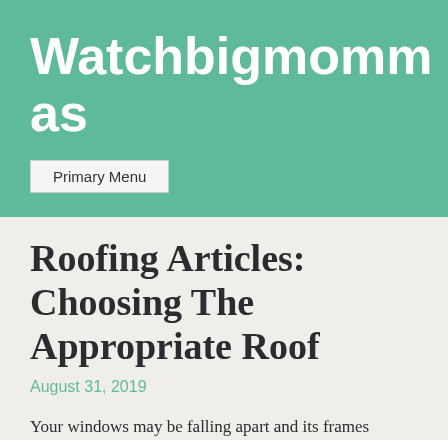Watchbigmommas
Primary Menu
Roofing Articles: Choosing The Appropriate Roof
August 31, 2019
Your windows may be falling apart and its frames